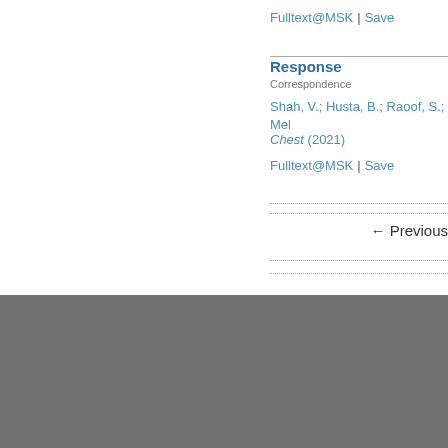Fulltext@MSK | Save
Response
Correspondence
Shah, V.; Husta, B.; Raoof, S.; Mel...
Chest (2021)
Fulltext@MSK | Save
← Previous
Follow
Memorial Sloan Kettering Cancer Center | Memorial Ho...
Gerstner Sloan Kettering Graduate Scho...
Legal Disclaime...
© 2022 Memorial Sloan